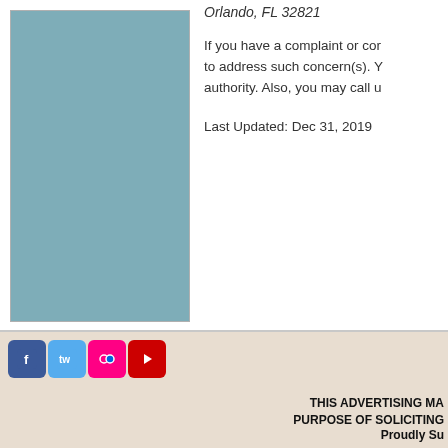Orlando, FL 32821
[Figure (illustration): Teal/blue-green decorative box or image placeholder]
If you have a complaint or concern to address such concern(s). You may call u authority. Also, you may call u
Last Updated: Dec 31, 2019
[Figure (other): Social media icons: Facebook, Twitter, Flickr, YouTube]
THIS ADVERTISING MA PURPOSE OF SOLICITING
Proudly Su
©2011 - 2022 Shell Vacations, LLC. (6277 S Shell Holdings, LLC., Arizona Real Estate Broker.